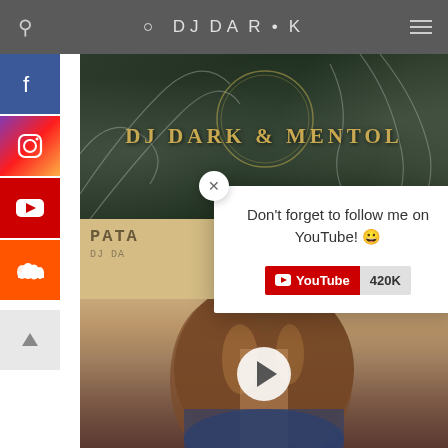DJ DARK
[Figure (photo): DJ Dark & Mentol banner with dark green/teal background and white plant/leaf designs]
[Figure (screenshot): Social media sidebar with Facebook, Instagram, YouTube, SoundCloud icons and up arrow]
[Figure (photo): Music release thumbnail showing PATA text and DJ DA text with beige/tan background]
Don't forget to follow me on YouTube! 😀
[Figure (other): YouTube subscribe button showing 420K subscribers]
[Figure (photo): Woman with long brown hair on tan/beige background with play button overlay]